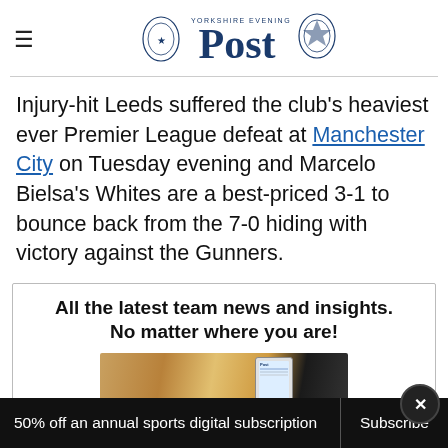Yorkshire Evening Post
Injury-hit Leeds suffered the club's heaviest ever Premier League defeat at Manchester City on Tuesday evening and Marcelo Bielsa's Whites are a best-priced 3-1 to bounce back from the 7-0 hiding with victory against the Gunners.
All the latest team news and insights. No matter where you are!
[Figure (photo): Promotional image showing a smartphone displaying the Yorkshire Evening Post app, with sports imagery in background]
50% off an annual sports digital subscription  Subscribe